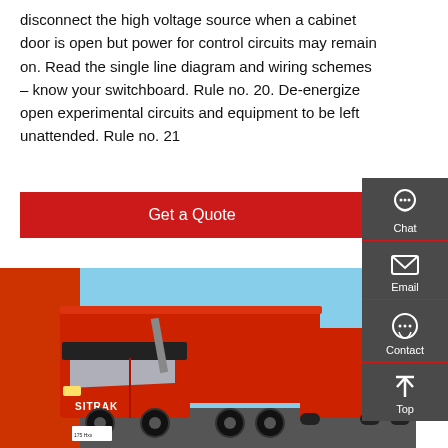disconnect the high voltage source when a cabinet door is open but power for control circuits may remain on. Read the single line diagram and wiring schemes – know your switchboard. Rule no. 20. De-energize open experimental circuits and equipment to be left unattended. Rule no. 21
Get a Quote
[Figure (photo): Red SITRAK dump truck parked in a yard with multiple similar red dump trucks in the background, outdoor setting with blue sky]
[Figure (infographic): Sidebar with dark grey background containing Chat (headset icon), Email (envelope icon), Contact (speech bubble icon), and Top (arrow up icon) buttons with red dividers]